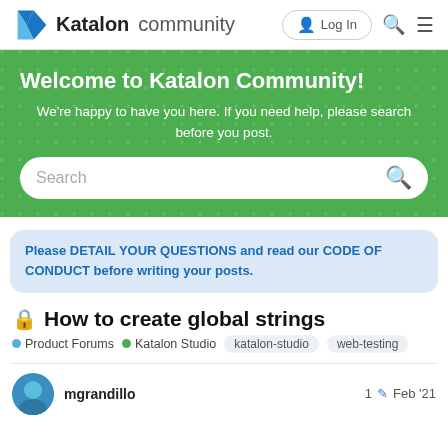Katalon community — Log In
Welcome to Katalon Community!
We're happy to have you here. If you need help, please search before you post.
Search
Please DETAIL YOUR QUESTIONS and read our CODE OF CONDUCT before writing your posts.
🔒 How to create global strings
Product Forums • Katalon Studio
katalon-studio  web-testing
mgrandillo  1 ✏  Feb '21